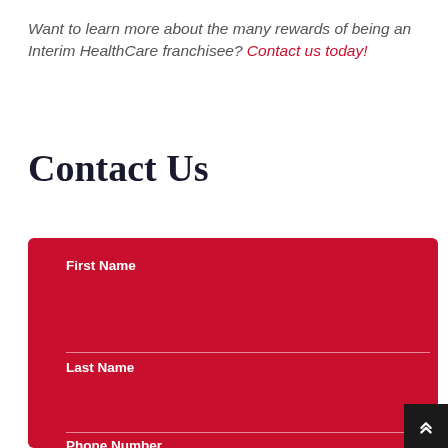Want to learn more about the many rewards of being an Interim HealthCare franchisee? Contact us today!
Contact Us
First Name
Last Name
Phone Number